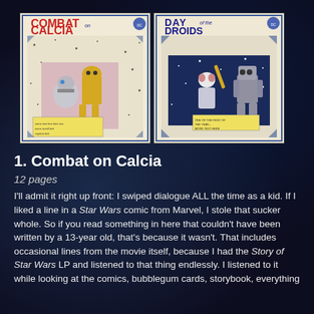[Figure (illustration): Two comic book covers side by side. Left: 'Combat on Calcia' featuring R2-D2 and C-3PO style droids/characters on a cream background with blue border. Right: 'Day of the Droids' featuring robotic characters with a bat on a cream background with blue border.]
1. Combat on Calcia
12 pages
I'll admit it right up front: I swiped dialogue ALL the time as a kid. If I liked a line in a Star Wars comic from Marvel, I stole that sucker whole. So if you read something in here that couldn't have been written by a 13-year old, that's because it wasn't. That includes occasional lines from the movie itself, because I had the Story of Star Wars LP and listened to that thing endlessly. I listened to it while looking at the comics, bubblegum cards, storybook, everything